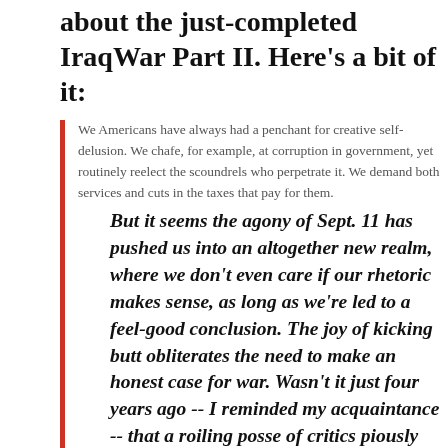about the just-completed IraqWar Part II. Here's a bit of it:
We Americans have always had a penchant for creative self-delusion. We chafe, for example, at corruption in government, yet routinely reelect the scoundrels who perpetrate it. We demand both services and cuts in the taxes that pay for them.
But it seems the agony of Sept. 11 has pushed us into an altogether new realm, where we don't even care if our rhetoric makes sense, as long as we're led to a feel-good conclusion. The joy of kicking butt obliterates the need to make an honest case for war. Wasn't it just four years ago -- I reminded my acquaintance -- that a roiling posse of critics piously